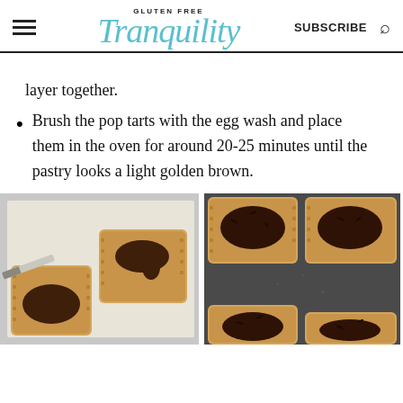GLUTEN FREE Tranquility | SUBSCRIBE
layer together.
Brush the pop tarts with the egg wash and place them in the oven for around 20-25 minutes until the pastry looks a light golden brown.
[Figure (photo): Two gluten-free pop tarts on parchment paper being spread with chocolate ganache using a knife]
[Figure (photo): Four gluten-free pop tarts on a dark baking sheet, topped with chocolate ganache and sprinkles]